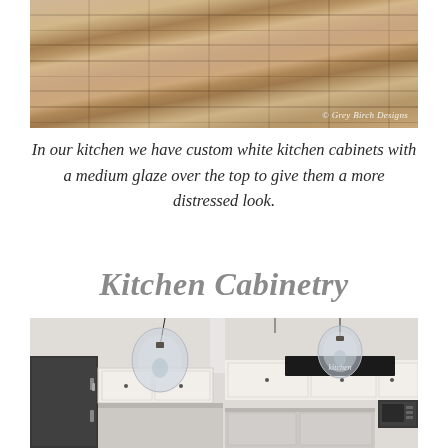[Figure (photo): Close-up photo of rustic wood plank flooring with grey-brown tones and natural grain patterns, with bright light reflections. Watermark reads '© Grey Birch Designs'.]
In our kitchen we have custom white kitchen cabinets with a medium glaze over the top to give them a more distressed look.
Kitchen Cabinetry
[Figure (photo): Interior photo of a kitchen with white glazed cabinets, stainless steel appliances (refrigerator and microwave), and large glass globe pendant lights hanging from the ceiling. A dark decorative sign reads 'kitchen' above the upper cabinets. Green plant on the counter.]